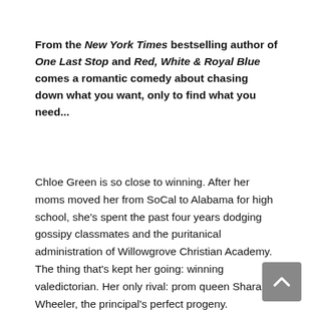From the New York Times bestselling author of One Last Stop and Red, White & Royal Blue comes a romantic comedy about chasing down what you want, only to find what you need...
Chloe Green is so close to winning. After her moms moved her from SoCal to Alabama for high school, she's spent the past four years dodging gossipy classmates and the puritanical administration of Willowgrove Christian Academy. The thing that's kept her going: winning valedictorian. Her only rival: prom queen Shara Wheeler, the principal's perfect progeny.